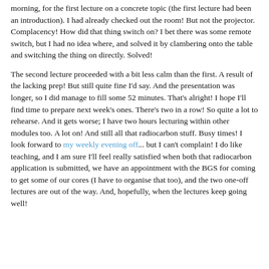morning, for the first lecture on a concrete topic (the first lecture had been an introduction). I had already checked out the room! But not the projector. Complacency! How did that thing switch on? I bet there was some remote switch, but I had no idea where, and solved it by clambering onto the table and switching the thing on directly. Solved!
The second lecture proceeded with a bit less calm than the first. A result of the lacking prep! But still quite fine I'd say. And the presentation was longer, so I did manage to fill some 52 minutes. That's alright! I hope I'll find time to prepare next week's ones. There's two in a row! So quite a lot to rehearse. And it gets worse; I have two hours lecturing within other modules too. A lot on! And still all that radiocarbon stuff. Busy times! I look forward to my weekly evening off... but I can't complain! I do like teaching, and I am sure I'll feel really satisfied when both that radiocarbon application is submitted, we have an appointment with the BGS for coming to get some of our cores (I have to organise that too), and the two one-off lectures are out of the way. And, hopefully, when the lectures keep going well!